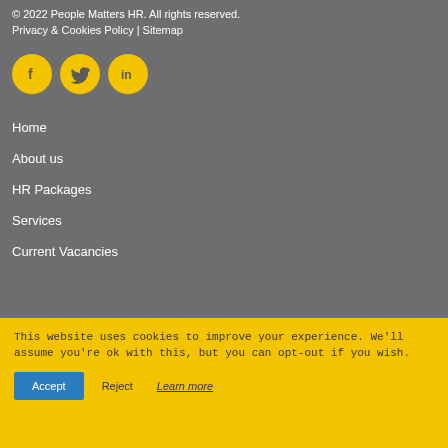© 2022 People Matters HR. All rights reserved.
Privacy & Cookies Policy | Sitemap
[Figure (illustration): Three yellow circular social media icons: Facebook (f), Twitter (bird), LinkedIn (in)]
Home
About us
HR Packages
Services
Current Vacancies
This website uses cookies to improve your experience. We'll assume you're ok with this, but you can opt-out if you wish.
Accept | Reject | Learn more